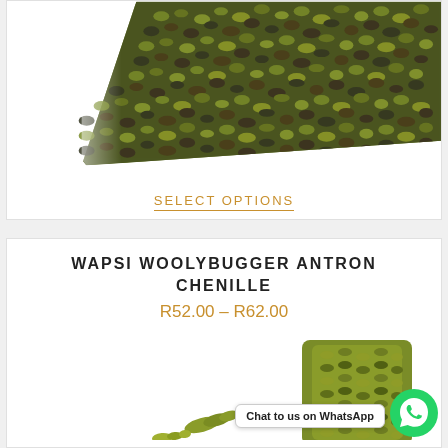[Figure (photo): Close-up photo of dark and olive/green textured chenille or wool fiber material on white background]
SELECT OPTIONS
WAPSI WOOLYBUGGER ANTRON CHENILLE
R52.00 – R62.00
[Figure (photo): Photo of olive/green woolybugger antron chenille material showing small piece and rolled spool on white background, with WhatsApp chat button overlay]
Chat to us on WhatsApp